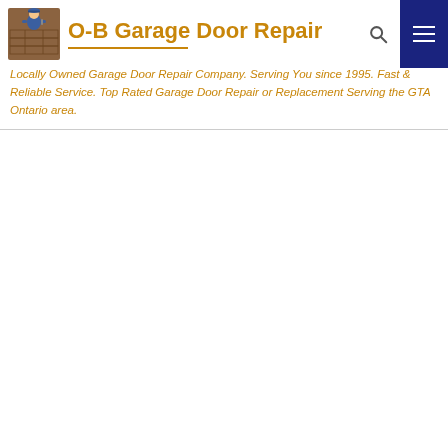[Figure (logo): O-B Garage Door Repair company logo with a technician mascot and garage door graphic]
O-B Garage Door Repair
Locally Owned Garage Door Repair Company. Serving You since 1995. Fast & Reliable Service. Top Rated Garage Door Repair or Replacement Serving the GTA Ontario area.